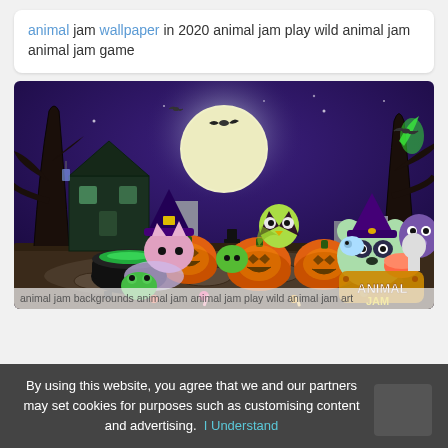animal jam wallpaper in 2020 animal jam play wild animal jam animal jam game
[Figure (illustration): Halloween-themed Animal Jam wallpaper showing cute cartoon animals dressed in Halloween costumes in a spooky graveyard scene with jack-o-lanterns, bats, a full moon, and a haunted house. Features the Animal Jam logo in the bottom right corner.]
animal jam backgrounds animal jam animal jam play wild animal jam art
By using this website, you agree that we and our partners may set cookies for purposes such as customising content and advertising. I Understand